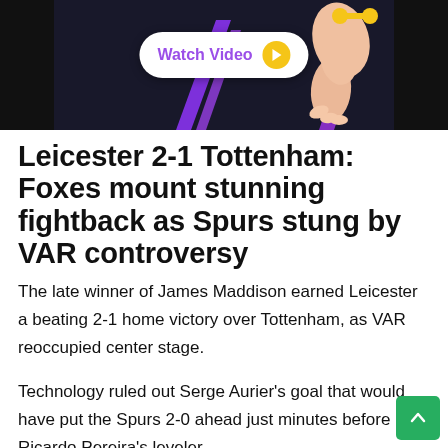[Figure (screenshot): Video thumbnail with dark background, purple diagonal stripes, illustrated arm/hand graphic, and a 'Watch Video' button with yellow play icon]
Leicester 2-1 Tottenham: Foxes mount stunning fightback as Spurs stung by VAR controversy
The late winner of James Maddison earned Leicester a beating 2-1 home victory over Tottenham, as VAR reoccupied center stage.
Technology ruled out Serge Aurier's goal that would have put the Spurs 2-0 ahead just minutes before Ricardo Pereira's leveler.